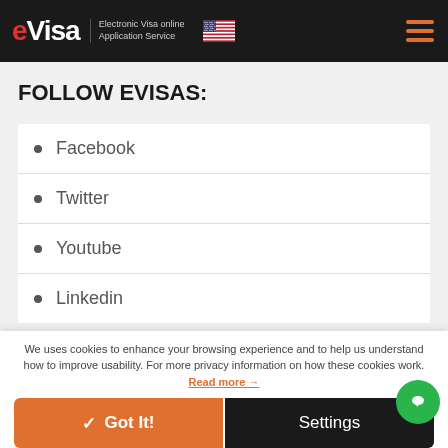eVisa – Electronic Visa online Application Service
FOLLOW EVISAS:
Facebook
Twitter
Youtube
Linkedin
We uses cookies to enhance your browsing experience and to help us understand how to improve usability. For more privacy information on how these cookies work. Read more →
✓ Got It!
Settings